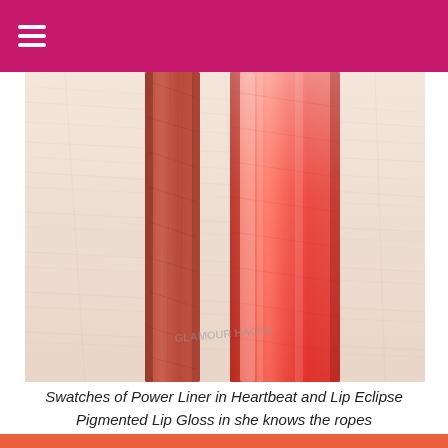[Figure (photo): Close-up swatch photo on skin showing two parallel stripes: a narrower matte coral-red stripe (Power Liner in Heartbeat) on the left and a wider glossy bright coral-red stripe (Lip Eclipse Pigmented Lip Gloss in she knows the ropes) on the right. A watermark reading 'GLAMOUR HACKS' is faintly visible at the bottom of the image.]
Swatches of Power Liner in Heartbeat and Lip Eclipse Pigmented Lip Gloss in she knows the ropes